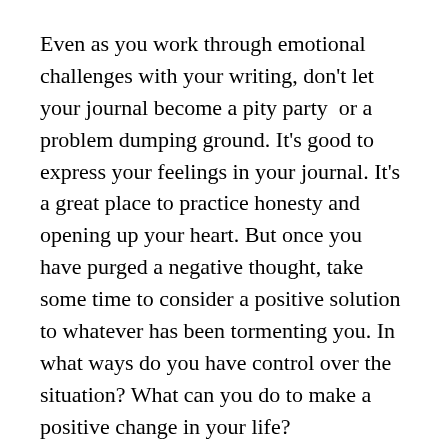Even as you work through emotional challenges with your writing, don't let your journal become a pity party  or a problem dumping ground. It's good to express your feelings in your journal. It's a great place to practice honesty and opening up your heart. But once you have purged a negative thought, take some time to consider a positive solution to whatever has been tormenting you. In what ways do you have control over the situation? What can you do to make a positive change in your life?
Daily Inspiration: “Since you get more joy out of giving joy to others, you should put a good deal of thought into the happiness that you are